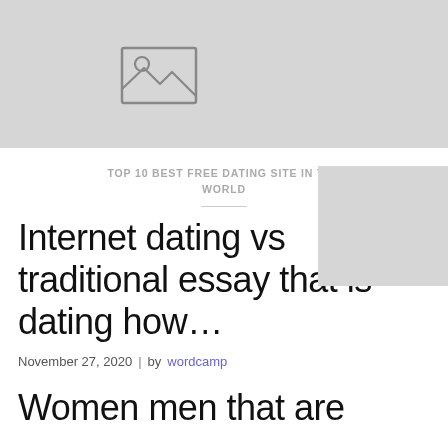[Figure (illustration): Placeholder image with mountain/landscape icon on gray background, top portion of page]
TOP 10 BEST FREE DATING SITE IN THE WORLD
Internet dating vs traditional essay that is dating how…
November 27, 2020  |  by wordcamp
Women men that are